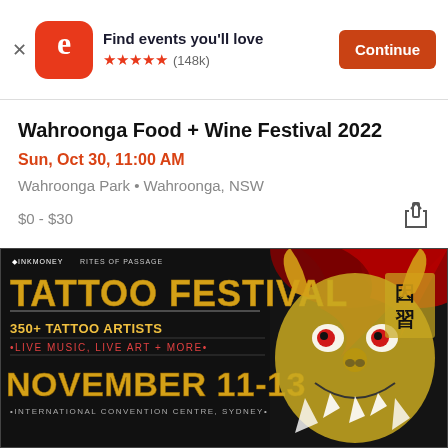Find events you'll love ★★★★★ (148k) Continue
Wahroonga Food + Wine Festival 2022
Sun, Oct 30, 11:00 AM
Wahroonga Park • Wahroonga, NSW
$0 - $30
[Figure (illustration): Tattoo festival promotional poster: INK MONEY Rites of Passage Tattoo Festival, 350+ Tattoo Artists, Live Music, Live Art + More, November 11-13, International Convention Centre, Sydney. Features a golden demon/oni mask illustration on black background.]